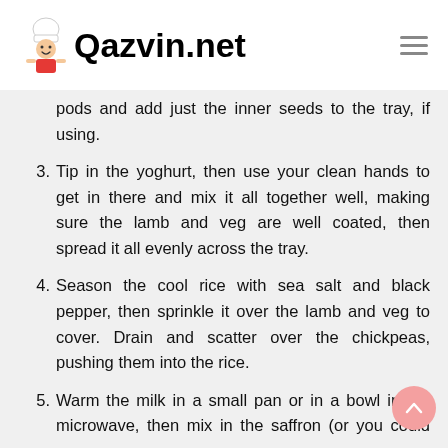Qazvin.net
pods and add just the inner seeds to the tray, if using.
3. Tip in the yoghurt, then use your clean hands to get in there and mix it all together well, making sure the lamb and veg are well coated, then spread it all evenly across the tray.
4. Season the cool rice with sea salt and black pepper, then sprinkle it over the lamb and veg to cover. Drain and scatter over the chickpeas, pushing them into the rice.
5. Warm the milk in a small pan or in a bowl in the microwave, then mix in the saffron (or you could use